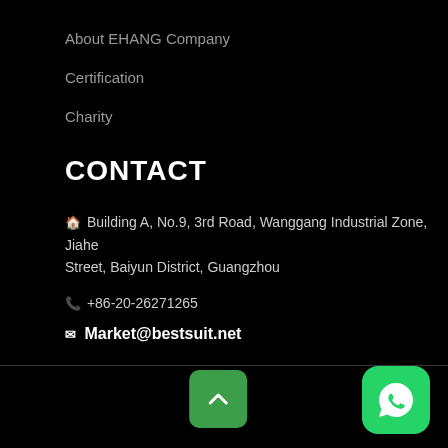About EHANG Company
Certification
Charity
CONTACT
🏠 Building A, No.9, 3rd Road, Wanggang Industrial Zone, Jiahe Street, Baiyun District, Guangzhou
📞 +86-20-26271265
✉ Market@bestsuit.net